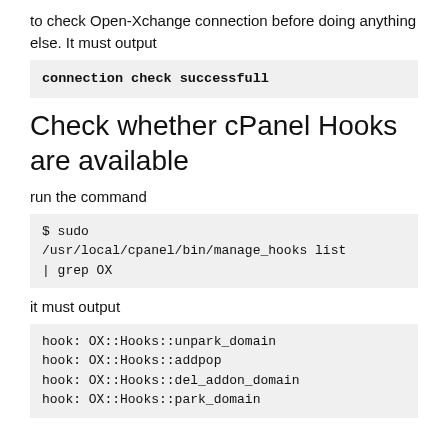to check Open-Xchange connection before doing anything else. It must output
connection check successfull
Check whether cPanel Hooks are available
run the command
$ sudo /usr/local/cpanel/bin/manage_hooks list | grep OX
it must output
hook: OX::Hooks::unpark_domain
hook: OX::Hooks::addpop
hook: OX::Hooks::del_addon_domain
hook: OX::Hooks::park_domain